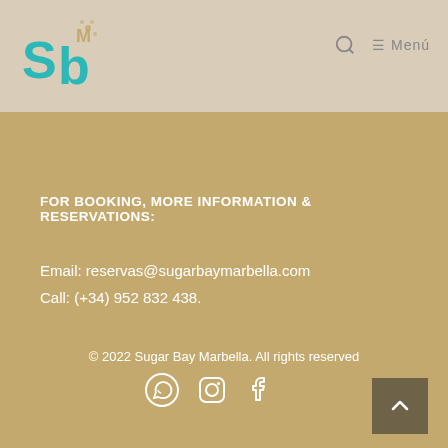Sb Logo — Menú navigation header
FOR BOOKING, MORE INFORMATION & RESERVATIONS:
Email: reservas@sugarbaymarbella.com
Call: (+34) 952 832 438.
© 2022 Sugar Bay Marbella. All rights reserved
[Figure (other): Social media icons: WhatsApp, Instagram, Facebook]